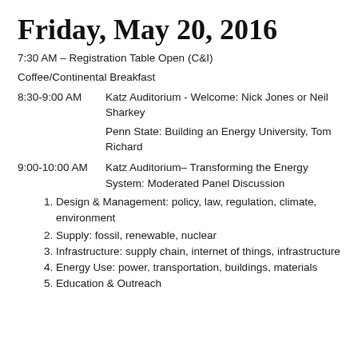Friday, May 20, 2016
7:30 AM – Registration Table Open (C&I)
Coffee/Continental Breakfast
8:30-9:00 AM       Katz Auditorium - Welcome: Nick Jones or Neil Sharkey
Penn State: Building an Energy University, Tom Richard
9:00-10:00 AM       Katz Auditorium– Transforming the Energy System: Moderated Panel Discussion
Design & Management: policy, law, regulation, climate, environment
Supply: fossil, renewable, nuclear
Infrastructure: supply chain, internet of things, infrastructure
Energy Use: power, transportation, buildings, materials
Education & Outreach